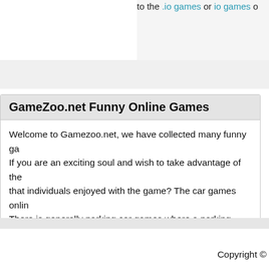to the .io games or io games o...
GameZoo.net Funny Online Games
Welcome to Gamezoo.net, we have collected many funny ga... If you are an exciting soul and wish to take advantage of the... that individuals enjoyed with the game? The car games onlin... There is generally parking car games where a parking area... involved. You must do this kind of without crashes suitable p... difficult that whenever you do lock up you in turn become su... The are car games would be the most fun books is capable... or perhaps in opposition with another gambler.
Copyright ©